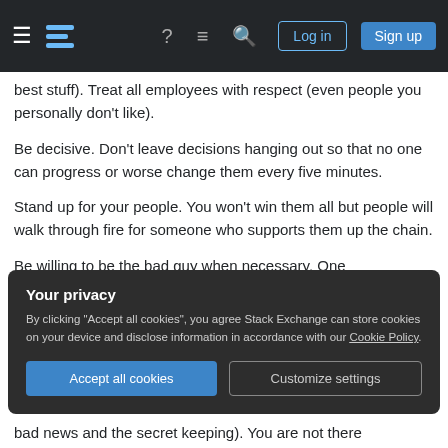Stack Exchange navigation bar with logo, help, chat, search, log in, sign up
best stuff). Treat all employees with respect (even people you personally don't like).
Be decisive. Don't leave decisions hanging out so that no one can progress or worse change them every five minutes.
Stand up for your people. You won't win them all but people will walk through fire for someone who supports them up the chain.
Be willing to be the bad guy when necessary. One
Your privacy
By clicking "Accept all cookies", you agree Stack Exchange can store cookies on your device and disclose information in accordance with our Cookie Policy.
Accept all cookies
Customize settings
bad news and the secret keeping). You are not there